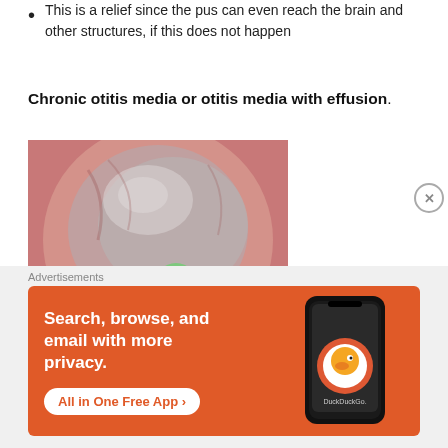This is a relief since the pus can even reach the brain and other structures, if this does not happen
Chronic otitis media or otitis media with effusion.
[Figure (photo): Close-up medical photo of a human ear canal showing a tympanostomy tube (ear tube) - a small green ventilation tube inserted in the eardrum, surrounded by pinkish ear tissue]
Advertisements
[Figure (screenshot): DuckDuckGo advertisement banner with orange background showing text 'Search, browse, and email with more privacy. All in One Free App' alongside a phone image with the DuckDuckGo logo]